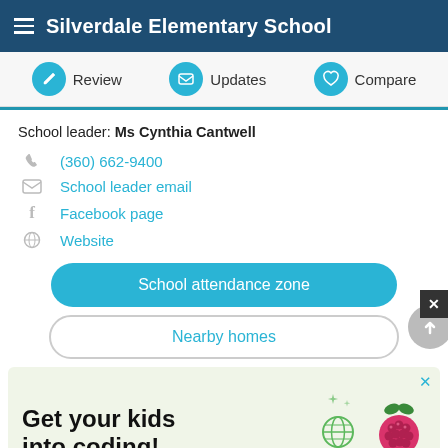Silverdale Elementary School
Review   Updates   Compare
School leader: Ms Cynthia Cantwell
(360) 662-9400
School leader email
Facebook page
Website
School attendance zone
Nearby homes
[Figure (infographic): Advertisement banner with green background showing text 'Get your kids into coding!' with raspberry Pi logo and decorative icons]
ADVERTISEMENT